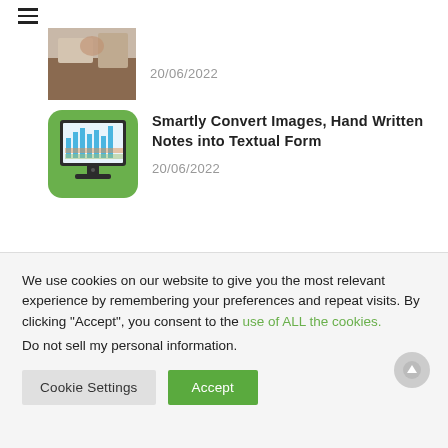≡
[Figure (photo): Partially visible thumbnail of a person writing or working at a desk, brown tones]
20/06/2022
[Figure (illustration): Green square icon with rounded corners showing a desktop computer monitor displaying colorful bar charts and spreadsheets]
Smartly Convert Images, Hand Written Notes into Textual Form
20/06/2022
We use cookies on our website to give you the most relevant experience by remembering your preferences and repeat visits. By clicking "Accept", you consent to the use of ALL the cookies.
Do not sell my personal information.
Cookie Settings
Accept